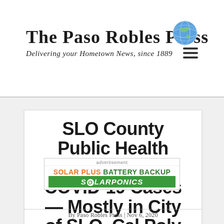The Paso Robles Press — Delivering your Hometown News, since 1889
SLO County Public Health Reports 72 New COVID-19 Cases — Mostly in City of SLO, Cal Poly
[Figure (logo): Advertisement: Solar Plus Battery Backup — Solarponics]
By Paso Robles Press | Nov 6, 2020